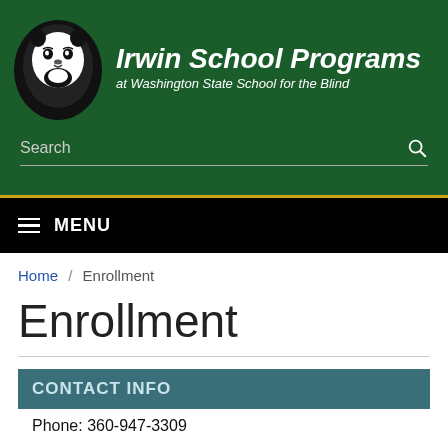[Figure (logo): Irwin School Programs at Washington State School for the Blind logo with lion mascot]
Search
MENU
Home / Enrollment
Enrollment
CONTACT INFO
Phone: 360-947-3309